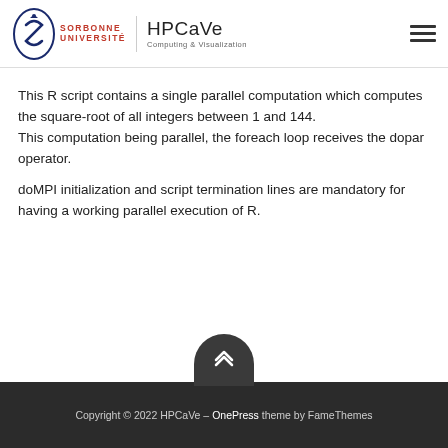Sorbonne Université | HPCaVe Computing & Visualization
This R script contains a single parallel computation which computes the square-root of all integers between 1 and 144.
This computation being parallel, the foreach loop receives the dopar operator.
doMPI initialization and script termination lines are mandatory for having a working parallel execution of R.
Copyright © 2022 HPCaVe – OnePress theme by FameThemes